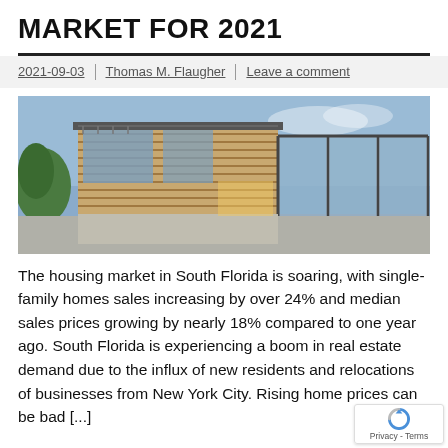MARKET FOR 2021
2021-09-03 | Thomas M. Flaugher | Leave a comment
[Figure (photo): Modern luxury home exterior with wood cladding, large glass windows, metal frame structure, and a covered outdoor area, photographed at dusk]
The housing market in South Florida is soaring, with single-family homes sales increasing by over 24% and median sales prices growing by nearly 18% compared to one year ago. South Florida is experiencing a boom in real estate demand due to the influx of new residents and relocations of businesses from New York City. Rising home prices can be bad [...]